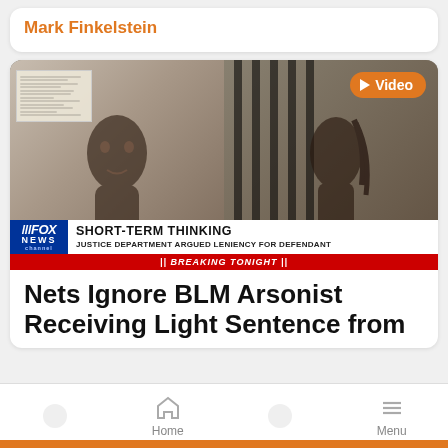Mark Finkelstein
[Figure (screenshot): Fox News lower-third mugshot graphic showing two mugshot photos with Fox News chyron reading SHORT-TERM THINKING / JUSTICE DEPARTMENT ARGUED LENIENCY FOR DEFENDANT / BREAKING TONIGHT. Video badge in top-right corner.]
Nets Ignore BLM Arsonist Receiving Light Sentence from
Home  Menu